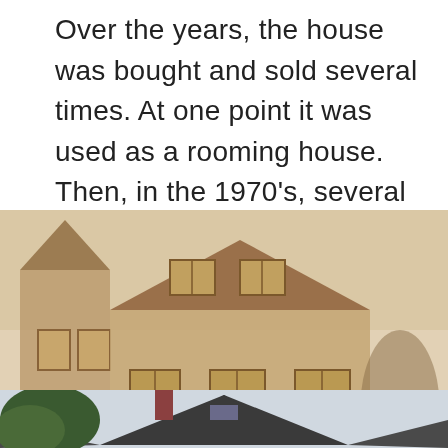Over the years, the house was bought and sold several times. At one point it was used as a rooming house. Then, in the 1970's, several Ripon College students bought the home and it became known locally as the "Men's Club"
[Figure (photo): Sepia-toned historical photograph of a Victorian-style house with multiple stories, a peaked roof with dormers, and large windows. Watermark reads 'Image may be subject to copyright'.]
[Figure (photo): Modern color photograph showing the roofline of the same or similar Victorian house with dark shingles, a chimney, and trees visible against a light sky.]